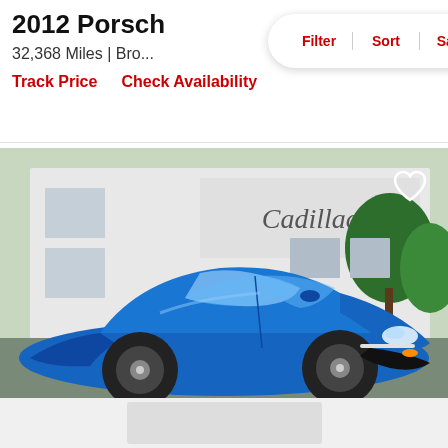2012 Porsch
$33,995
Filter  Sort  Save
32,368 Miles | Bro...
est. $490/mo
Track Price    Check Availability
[Figure (photo): Blue 2012 Porsche Panamera parked in front of a Cadillac dealership. The car is metallic blue with black wheels, photographed from the front-left angle.]